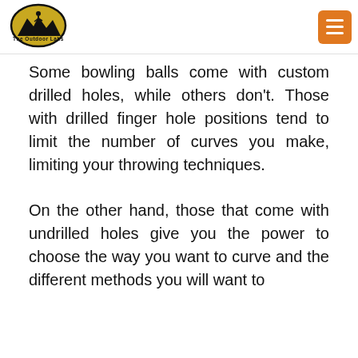The Outdoor Labs
Some bowling balls come with custom drilled holes, while others don't. Those with drilled finger hole positions tend to limit the number of curves you make, limiting your throwing techniques.
On the other hand, those that come with undrilled holes give you the power to choose the way you want to curve and the different methods you will want to